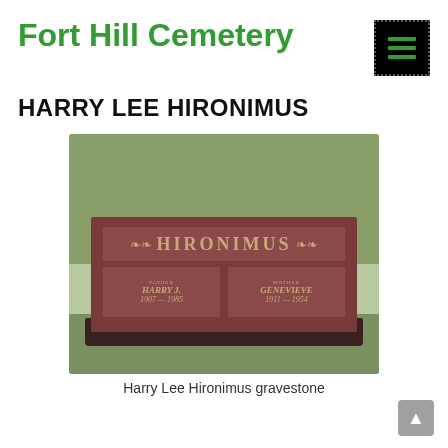Fort Hill Cemetery
HARRY LEE HIRONIMUS
[Figure (photo): Photograph of a reddish-brown granite gravestone for the Hironimus family. The stone reads 'HIRONIMUS' across the top with decorative scroll carvings. Below are two panels: left panel reads 'FATHER HARRY J. 1907-1985' and right panel reads 'MOTHER GENEVIEVE 1911-1954'. The stone sits on grass.]
Harry Lee Hironimus gravestone